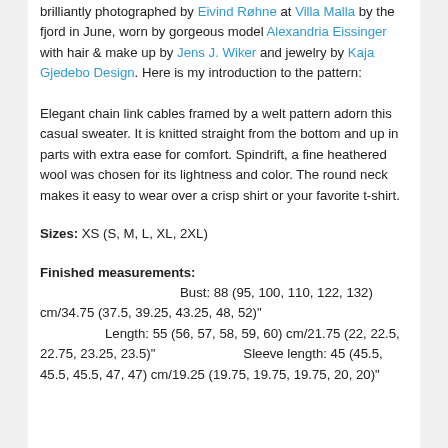brilliantly photographed by Eivind Røhne at Villa Malla by the fjord in June, worn by gorgeous model Alexandria Eissinger with hair & make up by Jens J. Wiker and jewelry by Kaja Gjedebo Design. Here is my introduction to the pattern:
Elegant chain link cables framed by a welt pattern adorn this casual sweater. It is knitted straight from the bottom and up in parts with extra ease for comfort. Spindrift, a fine heathered wool was chosen for its lightness and color. The round neck makes it easy to wear over a crisp shirt or your favorite t-shirt.
Sizes: XS (S, M, L, XL, 2XL)
Finished measurements: Bust: 88 (95, 100, 110, 122, 132) cm/34.75 (37.5, 39.25, 43.25, 48, 52)" Length: 55 (56, 57, 58, 59, 60) cm/21.75 (22, 22.5, 22.75, 23.25, 23.5)" Sleeve length: 45 (45.5, 45.5, 45.5, 47, 47) cm/19.25 (19.75, 19.75, 19.75, 20, 20)"